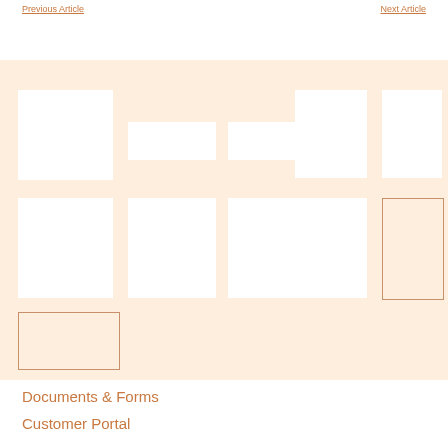Previous Article   Next Article
[Figure (screenshot): Gallery of image thumbnails arranged in a grid on a peach/salmon background. Row 1: one large white square on left, two medium white rectangles in center, two white squares on right. Row 2: one large white square on left, three medium white squares in center-right area, one outlined square on far right. Row 3: one outlined rectangle on lower left.]
Documents & Forms
Customer Portal